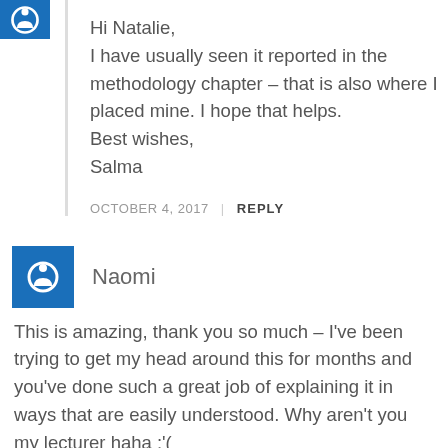[Figure (illustration): Blue square avatar icon with circular power/user symbol, top-left corner (partially visible)]
Hi Natalie,
I have usually seen it reported in the methodology chapter – that is also where I placed mine. I hope that helps.
Best wishes,
Salma
OCTOBER 4, 2017  |  REPLY
[Figure (illustration): Blue square avatar icon with circular power/user symbol]
Naomi
This is amazing, thank you so much – I've been trying to get my head around this for months and you've done such a great job of explaining it in ways that are easily understood. Why aren't you my lecturer haha :'(